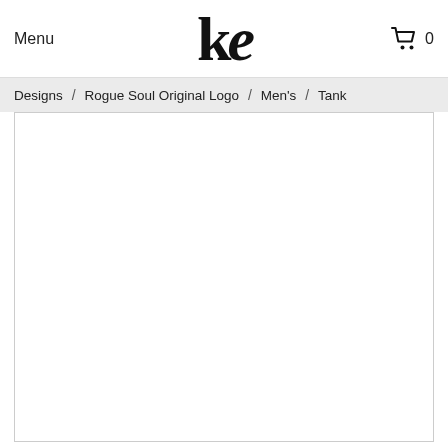Menu  ke  0
Designs / Rogue Soul Original Logo / Men's / Tank
[Figure (photo): White blank product image area for a men's tank top product page]